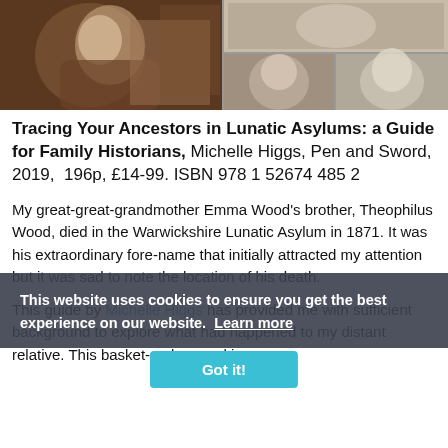[Figure (photo): Collage of vintage/historical black-and-white photographs: a large portrait of a person in dark coat on the left, and a grid of three smaller portraits on the right including women and a bald man.]
Tracing Your Ancestors in Lunatic Asylums: a Guide for Family Historians, Michelle Higgs, Pen and Sword, 2019, 196p, £14-99. ISBN 978 1 52674 485 2
My great-great-grandmother Emma Wood's brother, Theophilus Wood, died in the Warwickshire Lunatic Asylum in 1871. It was his extraordinary fore-name that initially attracted my attention but it was sad to note the location of his death.
This guide by Michelle Higgs has provided me with sufficient background to explore what had happened to my distant relative. This basket-maker, working on
This website uses cookies to ensure you get the best experience on our website. Learn more
Got it!